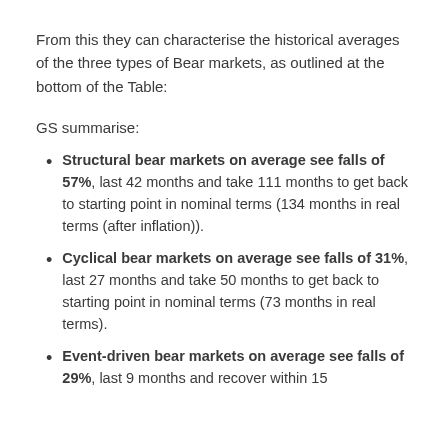From this they can characterise the historical averages of the three types of Bear markets, as outlined at the bottom of the Table:
GS summarise:
Structural bear markets on average see falls of 57%, last 42 months and take 111 months to get back to starting point in nominal terms (134 months in real terms (after inflation)).
Cyclical bear markets on average see falls of 31%, last 27 months and take 50 months to get back to starting point in nominal terms (73 months in real terms).
Event-driven bear markets on average see falls of 29%, last 9 months and recover within 15